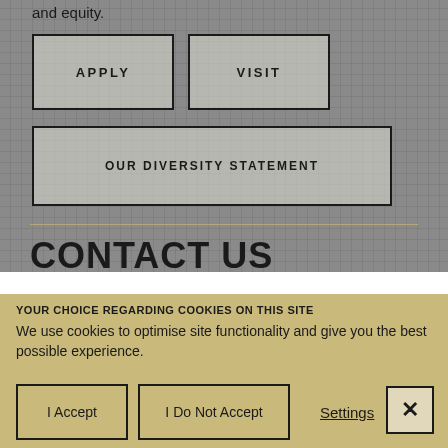and equity.
APPLY
VISIT
OUR DIVERSITY STATEMENT
CONTACT US
YOUR CHOICE REGARDING COOKIES ON THIS SITE
We use cookies to optimise site functionality and give you the best possible experience.
I Accept
I Do Not Accept
Settings